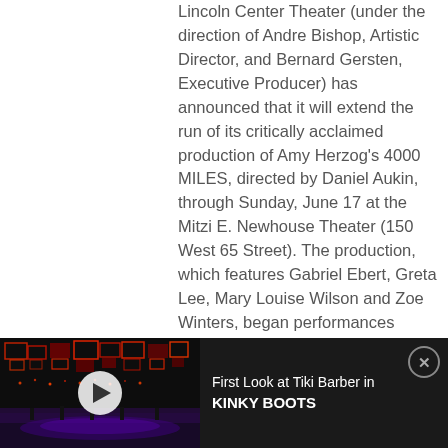Lincoln Center Theater (under the direction of Andre Bishop, Artistic Director, and Bernard Gersten, Executive Producer) has announced that it will extend the run of its critically acclaimed production of Amy Herzog's 4000 MILES, directed by Daniel Aukin, through Sunday, June 17 at the Mitzi E. Newhouse Theater (150 West 65 Street). The production, which features Gabriel Ebert, Greta Lee, Mary Louise Wilson and Zoe Winters, began performances March 15, opened on April 2 and originally scheduled to run through Sunday, May 20, had its
[Figure (screenshot): Video advertisement banner with dark background showing a theatrical stage set with red geometric light patterns. A play button overlay is visible. Text reads: 'First Look at Tiki Barber in KINKY BOOTS' with a close (X) button.]